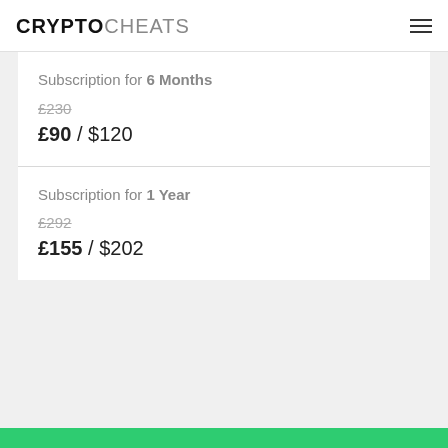CRYPTOCHEATS
Subscription for 6 Months
£230
£90 / $120
Subscription for 1 Year
£292
£155 / $202